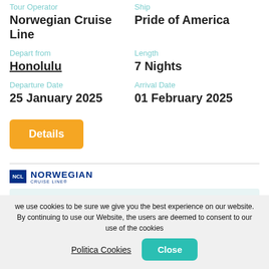Tour Operator
Norwegian Cruise Line
Ship
Pride of America
Depart from
Honolulu
Length
7 Nights
Departure Date
25 January 2025
Arrival Date
01 February 2025
[Figure (other): Details button - orange/amber colored button]
[Figure (logo): Norwegian Cruise Line logo with NCL shield icon and company name]
[Figure (other): Light blue/teal content area box]
we use cookies to be sure we give you the best experience on our website. By continuing to use our Website, the users are deemed to consent to our use of the cookies
Politica Cookies
Close